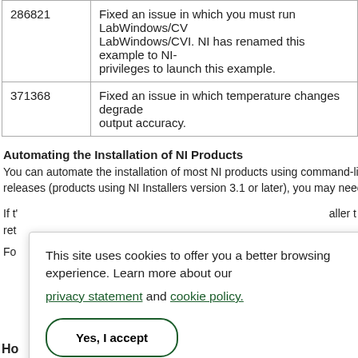| ID | Description |
| --- | --- |
| 286821 | Fixed an issue in which you must run LabWindows/CVI. NI has renamed this example to NI-privileges to launch this example. |
| 371368 | Fixed an issue in which temperature changes degraded output accuracy. |
Automating the Installation of NI Products
You can automate the installation of most NI products using command-line arguments. For recent releases (products using NI Installers version 3.1 or later), you may need to perform additional steps.
If the installer detects... (partially visible) ...aller re...
For... (partially visible) ...er to...
[Figure (other): Cookie consent dialog overlay: 'This site uses cookies to offer you a better browsing experience. Learn more about our privacy statement and cookie policy.' with a 'Yes, I accept' button.]
Ho...